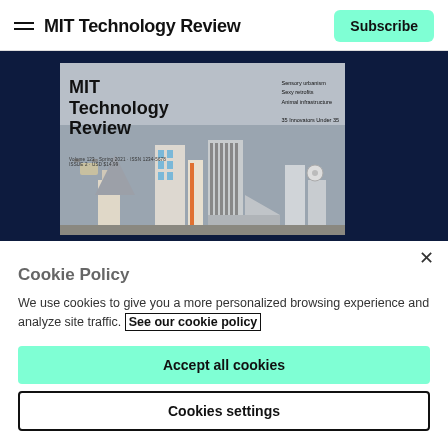MIT Technology Review — Subscribe
[Figure (screenshot): MIT Technology Review magazine cover showing futuristic cityscape with title 'MIT Technology Review' and text 'Sensory urbanism, Sexy retrofits, Animal infrastructure, 35 Innovators Under 35' on dark navy background]
Cookie Policy
We use cookies to give you a more personalized browsing experience and analyze site traffic. See our cookie policy
Accept all cookies
Cookies settings